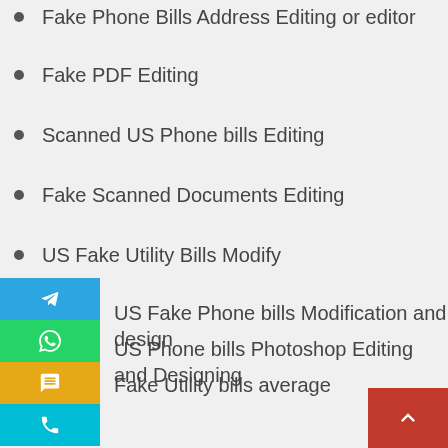Fake Phone Bills Address Editing or editor
Fake PDF Editing
Scanned US Phone bills Editing
Fake Scanned Documents Editing
US Fake Utility Bills Modify
US Fake Phone bills Modification and design
US Phone bills Photoshop Editing and Designing
Fake Utility bills average
Help for fake utility Bills
Assistance for Fake Utility Bills
Utility Bills Estimate
hat if you are married to a person who is whimsical and cantankerous? Life would be miserable as you will have arguments on petty things. Moreover, if he has forbidden you to talk to your friends for long hours. His stinginess can be the reason of the fights between you & him but you also don't want to avoid talking to your friends. You are sick of all